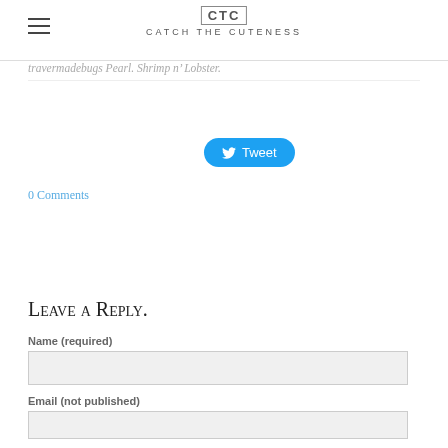CATCH THE CUTENESS
travermadebugs Pearl. Shrimp n' Lobster.
[Figure (other): Tweet button with Twitter bird icon]
0 Comments
Leave a Reply.
Name (required)
Email (not published)